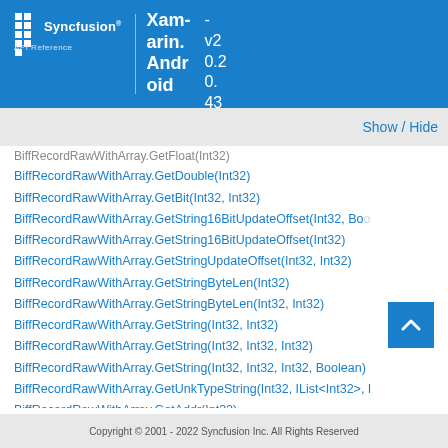Syncfusion API Reference - Xamarin.Android v20.0.43
Show / Hide
BiffRecordRawWithArray.GetFloat(Int32)
BiffRecordRawWithArray.GetDouble(Int32)
BiffRecordRawWithArray.GetBit(Int32, Int32)
BiffRecordRawWithArray.GetString16BitUpdateOffset(Int32, Boolean)
BiffRecordRawWithArray.GetString16BitUpdateOffset(Int32)
BiffRecordRawWithArray.GetStringUpdateOffset(Int32, Int32)
BiffRecordRawWithArray.GetStringByteLen(Int32)
BiffRecordRawWithArray.GetStringByteLen(Int32, Int32)
BiffRecordRawWithArray.GetString(Int32, Int32)
BiffRecordRawWithArray.GetString(Int32, Int32, Int32)
BiffRecordRawWithArray.GetString(Int32, Int32, Int32, Boolean)
BiffRecordRawWithArray.GetUnkTypeString(Int32, IList<Int32>, ...)
BiffRecordRawWithArray.GetAddr(Int32)
BiffRecordRawWithArray.GetAddrAsRectangle(Int32...)
BiffRecordRawWithArray.EnlargeDataStorageIfNeeded(Int32, In...)
Copyright © 2001 - 2022 Syncfusion Inc. All Rights Reserved